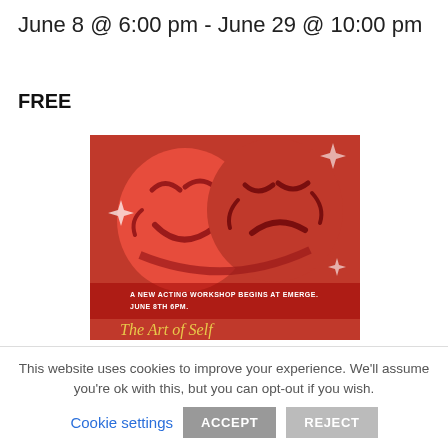June 8 @ 6:00 pm - June 29 @ 10:00 pm
FREE
[Figure (illustration): Red background theater comedy/tragedy masks illustration with text 'A NEW ACTING WORKSHOP BEGINS AT EMERGE. JUNE 8TH 6PM.' and partial title 'The Art of Self']
This website uses cookies to improve your experience. We'll assume you're ok with this, but you can opt-out if you wish.
Cookie settings  ACCEPT  REJECT